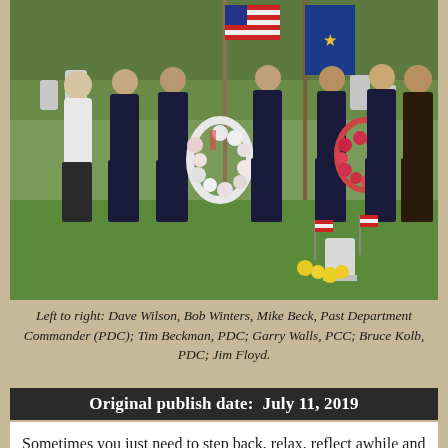[Figure (photo): Group of men standing in a cemetery, several in military/veterans uniforms with medals, American flags and blue flags visible, floral wreaths near a grave marker, green grass background with headstones.]
Left to right: Dave Wilson, Bob Winters, Mike Beck, Past Department Commander (PDC); Tim Beckman, PDC; Garry Walls, PCC; Bruce Kolb, PDC; Jim Floyd.
Original publish date:  July 11, 2019
Sometimes you just need to step back, relax, reflect awhile and think about what it means to be a Hoosier. The fourth of July seems a perfect time for such reflections. I was born in